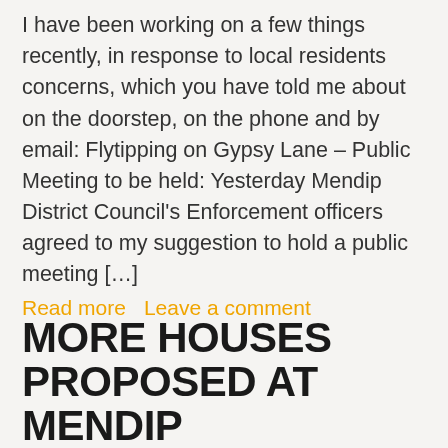I have been working on a few things recently, in response to local residents concerns, which you have told me about on the doorstep, on the phone and by email: Flytipping on Gypsy Lane – Public Meeting to be held: Yesterday Mendip District Council's Enforcement officers agreed to my suggestion to hold a public meeting […]
Read more   Leave a comment
MORE HOUSES PROPOSED AT MENDIP